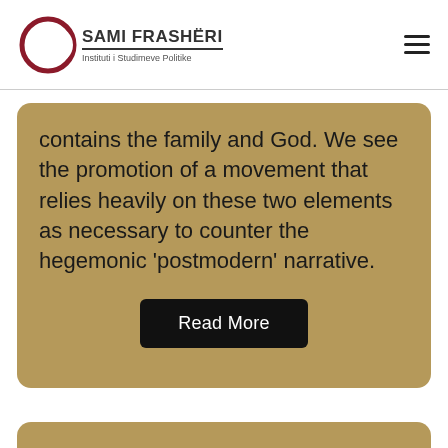[Figure (logo): Sami Frashëri – Instituti i Studimeve Politike logo with crescent and moon symbol]
contains the family and God. We see the promotion of a movement that relies heavily on these two elements as necessary to counter the hegemonic 'postmodern' narrative.
Read More